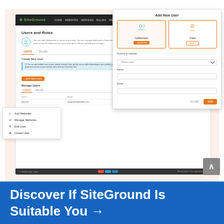[Figure (screenshot): Screenshot of SiteGround hosting control panel showing Users and Roles page with Add New User modal dialog open. A context menu is visible on the left with options: Add Websites, Manage Websites, Edit User, Create User.]
Discover If SiteGround Is Suitable You →